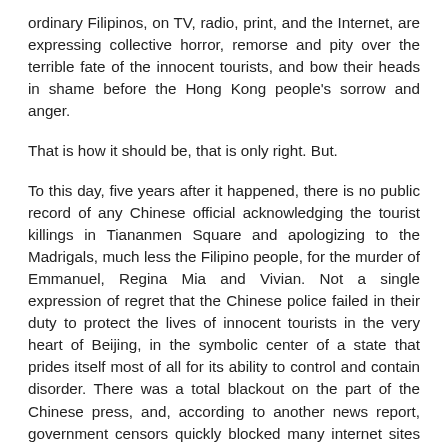ordinary Filipinos, on TV, radio, print, and the Internet, are expressing collective horror, remorse and pity over the terrible fate of the innocent tourists, and bow their heads in shame before the Hong Kong people's sorrow and anger.
That is how it should be, that is only right. But.
To this day, five years after it happened, there is no public record of any Chinese official acknowledging the tourist killings in Tiananmen Square and apologizing to the Madrigals, much less the Filipino people, for the murder of Emmanuel, Regina Mia and Vivian. Not a single expression of regret that the Chinese police failed in their duty to protect the lives of innocent tourists in the very heart of Beijing, in the symbolic center of a state that prides itself most of all for its ability to control and contain disorder. There was a total blackout on the part of the Chinese press, and, according to another news report, government censors quickly blocked many internet sites where Chinese users had begun to post comments about the killing. So we will likely never know what ordinary Chinese citizens had to say about about the incident. Maybe some of them were actually sorry for what